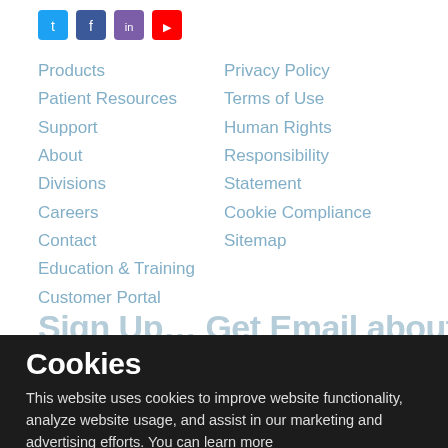[Figure (other): Social media icons row: Twitter (blue), Facebook (blue), another icon (purple), YouTube (red)]
Products
Patient Resources
Support
About
Divisions
Careers
Contact
Education & Training
Customer Portal
Privacy Policy
Terms of Use
Human Rights
Responsibility Statement
Cookie Compliance
Sitemap
Sign Up… Get Email about N…
Cookies
This website uses cookies to improve website functionality, analyze website usage, and assist in our marketing and advertising efforts. You can learn more